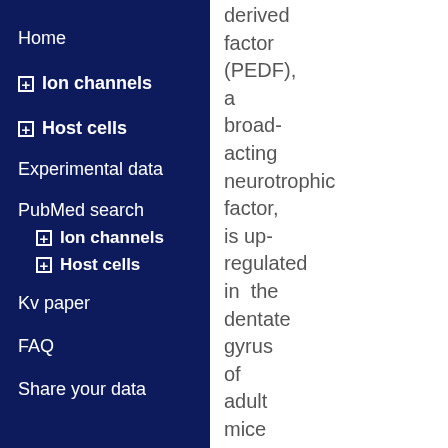Home
⊞ Ion channels
⊞ Host cells
Experimental data
PubMed search
⊞ Ion channels
⊞ Host cells
Kv paper
FAQ
Share your data
derived factor (PEDF), a broad-acting neurotrophic factor, is up-regulated in the dentate gyrus of adult mice after the